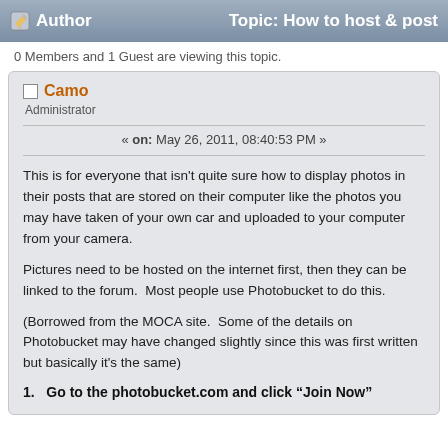Author   Topic: How to host & post
0 Members and 1 Guest are viewing this topic.
Camo
Administrator
« on: May 26, 2011, 08:40:53 PM »
This is for everyone that isn't quite sure how to display photos in their posts that are stored on their computer like the photos you may have taken of your own car and uploaded to your computer from your camera.
Pictures need to be hosted on the internet first, then they can be linked to the forum.  Most people use Photobucket to do this.
(Borrowed from the MOCA site.  Some of the details on Photobucket may have changed slightly since this was first written but basically it's the same)
1.   Go to the photobucket.com and click “Join Now”